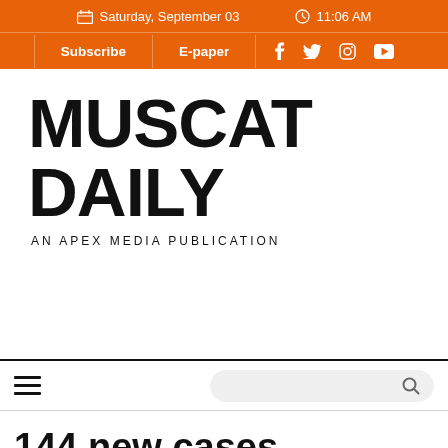Saturday, September 03   11:06 AM
Subscribe  E-paper  Facebook  Twitter  Instagram  YouTube
MUSCAT DAILY
AN APEX MEDIA PUBLICATION
144 new cases recorded in a